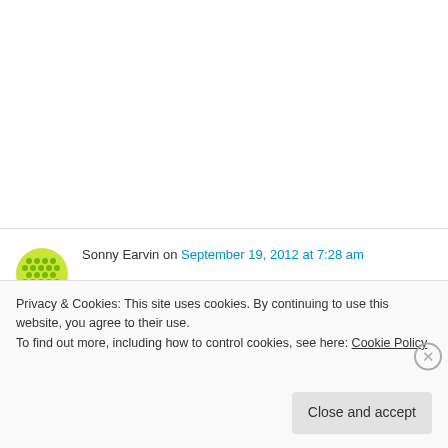Sonny Earvin on September 19, 2012 at 7:28 am
I filled out the application for bike rakes at two location in front of our apartment buildings for the county. I'd like to know how do i check on the progress of putting in the bike rakes?
Privacy & Cookies: This site uses cookies. By continuing to use this website, you agree to their use.
To find out more, including how to control cookies, see here: Cookie Policy